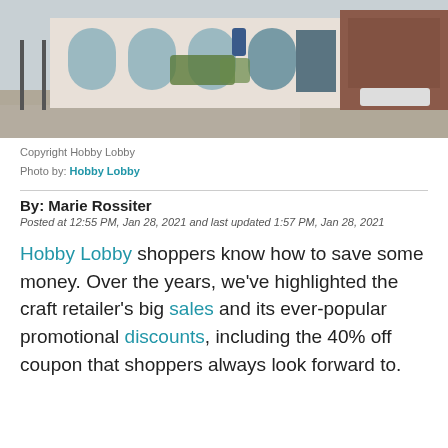[Figure (photo): Exterior photo of a Hobby Lobby store showing glass facade, brick walls, and sidewalk]
Copyright Hobby Lobby
Photo by: Hobby Lobby
By: Marie Rossiter
Posted at 12:55 PM, Jan 28, 2021 and last updated 1:57 PM, Jan 28, 2021
Hobby Lobby shoppers know how to save some money. Over the years, we've highlighted the craft retailer's big sales and its ever-popular promotional discounts, including the 40% off coupon that shoppers always look forward to.